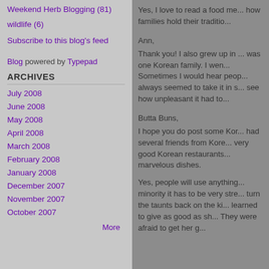Weekend Herb Blogging (81)
wildlife (6)
Subscribe to this blog's feed
Blog powered by Typepad
ARCHIVES
July 2008
June 2008
May 2008
April 2008
March 2008
February 2008
January 2008
December 2007
November 2007
October 2007
More
Yes, I love to read a food me... how families hold their traditio...
Ann,
Thank you! I also grew up in ... was one Korean family. I wen... Sometimes I would hear peop... always seemed to take it in s... see how unpleasant it had to...
Butta Buns,
I hope you do post some Kor... had several friends from Kore... very good Korean restaurants... marvelous dishes.
Yes, people will use anything... minority it has to be very stre... turn the taunts back on the ki... learned to give as good as sh... They were afraid to get her g...